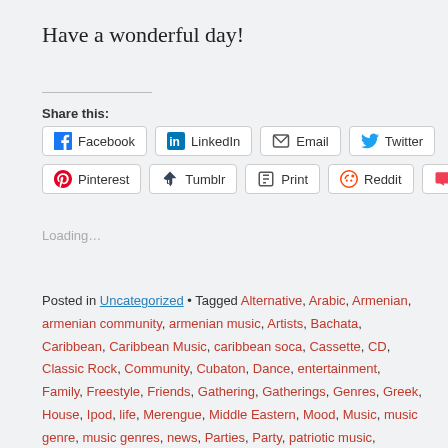Have a wonderful day!
Share this:
[Figure (other): Social share buttons: Facebook, LinkedIn, Email, Twitter, Pinterest, Tumblr, Print, Reddit, Pocket]
Loading...
Posted in Uncategorized • Tagged Alternative, Arabic, Armenian, armenian community, armenian music, Artists, Bachata, Caribbean, Caribbean Music, caribbean soca, Cassette, CD, Classic Rock, Community, Cubaton, Dance, entertainment, Family, Freestyle, Friends, Gathering, Gatherings, Genres, Greek, House, Ipod, life, Merengue, Middle Eastern, Mood, Music, music genre, music genres, news, Parties, Party, patriotic music, Performers, Persian, persian music, Pop, Reggae, Rythm, Salsa,